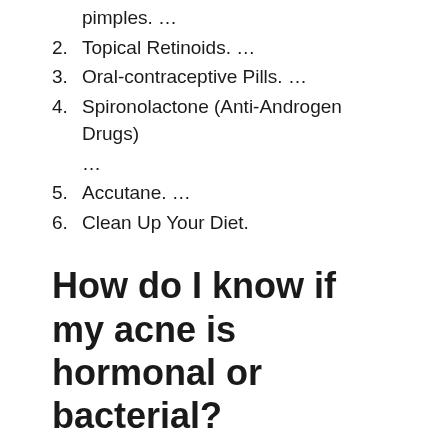pimples. …
2. Topical Retinoids. …
3. Oral-contraceptive Pills. …
4. Spironolactone (Anti-Androgen Drugs) …
5. Accutane. …
6. Clean Up Your Diet.
How do I know if my acne is hormonal or bacterial?
You can tell if acne is hormonal or bacteria by its severity if flare-ups occur during hormonal imbalances, and whether topical treatments resolve the issues, or if systemic medications are needed.
How do I know if my acne is